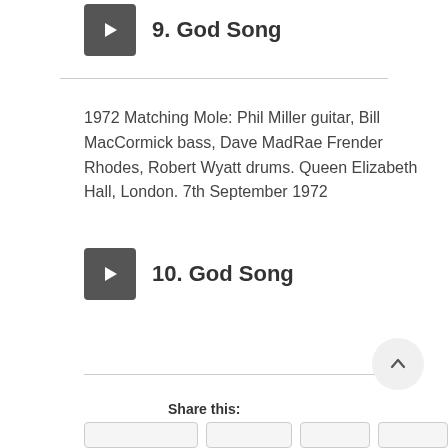9. God Song
1972 Matching Mole: Phil Miller guitar, Bill MacCormick bass, Dave MadRae Frender Rhodes, Robert Wyatt drums. Queen Elizabeth Hall, London. 7th September 1972
10. God Song
Share this: